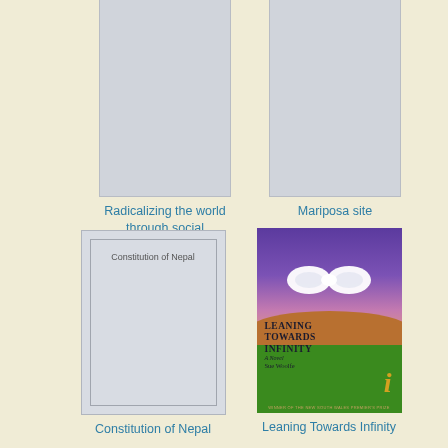[Figure (illustration): Placeholder book cover image for 'Radicalizing the world through social engineering', grey rectangle]
Radicalizing the world through social engineering
[Figure (illustration): Placeholder book cover image for 'Mariposa site', grey rectangle]
Mariposa site
[Figure (illustration): Book cover for 'Constitution of Nepal' with inner border and title text]
Constitution of Nepal
[Figure (photo): Book cover for 'Leaning Towards Infinity' showing infinity symbol made of clouds against purple/pink sky with green field below]
Leaning Towards Infinity